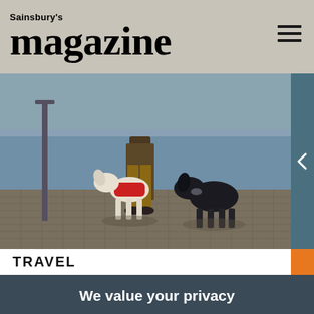Sainsbury's magazine
[Figure (photo): Two dogs standing on a cobblestone waterfront. A white/cream greyhound wearing a red coat/jacket and a black dog, with legs of a person visible between them. Lamp post and water in the background.]
TRAVEL
We value your privacy
We use cookies to help give you the best experience on our site and to allow us and third parties to customise the marketing content you see across websites and social media. For more information see our cookie policy.
Manage Preferences
Accept All Cookies